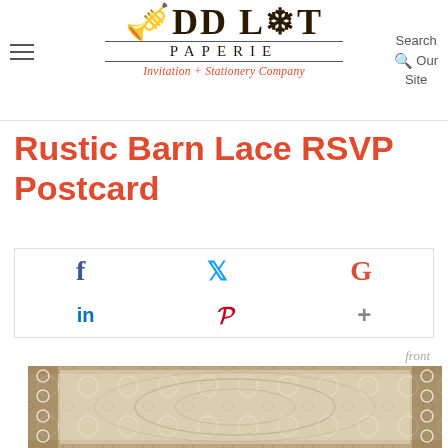ODD LOT PAPERIE — Invitation + Stationery Company
Rustic Barn Lace RSVP Postcard
[Figure (infographic): Social media sharing icons: Facebook (f), Twitter (bird), Google+ (G), LinkedIn (in), Pinterest (p), Plus (+)]
front
[Figure (photo): Rustic barn lace RSVP postcard front with ornate lace border pattern in brown and cream tones]